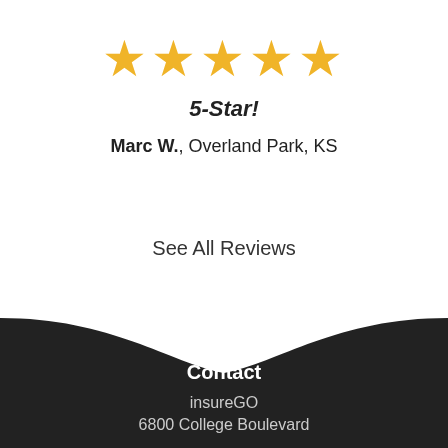[Figure (other): Five gold star icons representing a 5-star rating]
5-Star!
Marc W., Overland Park, KS
See All Reviews
[Figure (illustration): Dark curved banner/wave shape forming the footer background]
Contact
insureGO
6800 College Boulevard